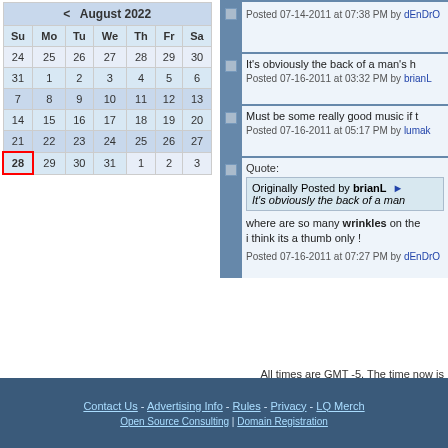| Su | Mo | Tu | We | Th | Fr | Sa |
| --- | --- | --- | --- | --- | --- | --- |
| 24 | 25 | 26 | 27 | 28 | 29 | 30 |
| 31 | 1 | 2 | 3 | 4 | 5 | 6 |
| 7 | 8 | 9 | 10 | 11 | 12 | 13 |
| 14 | 15 | 16 | 17 | 18 | 19 | 20 |
| 21 | 22 | 23 | 24 | 25 | 26 | 27 |
| 28 | 29 | 30 | 31 | 1 | 2 | 3 |
Posted 07-14-2011 at 07:38 PM by dEnDrO
It's obviously the back of a man's h
Posted 07-16-2011 at 03:32 PM by brianL
Must be some really good music if t
Posted 07-16-2011 at 05:17 PM by lumak
Quote:
Originally Posted by brianL
It's obviously the back of a man
where are so many wrinkles on the
i think its a thumb only !
Posted 07-16-2011 at 07:27 PM by dEnDrO
All times are GMT -5. The time now is
Contact Us - Advertising Info - Rules - Privacy - LQ Merch
Open Source Consulting | Domain Registration